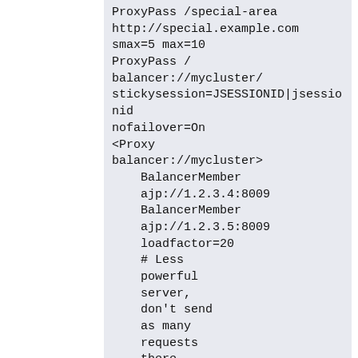ProxyPass /special-area http://special.example.com smax=5 max=10
ProxyPass / balancer://mycluster/ stickysession=JSESSIONID|jsessionid nofailover=On
<Proxy balancer://mycluster>
    BalancerMember ajp://1.2.3.4:8009
    BalancerMember ajp://1.2.3.5:8009 loadfactor=20
    # Less powerful server, don't send as many requests there,
    BalancerMember ajp://1.2.3.6:8009 loadfactor=5
</Proxy>
Setting up a hot-standby, that will only be used if no other members are